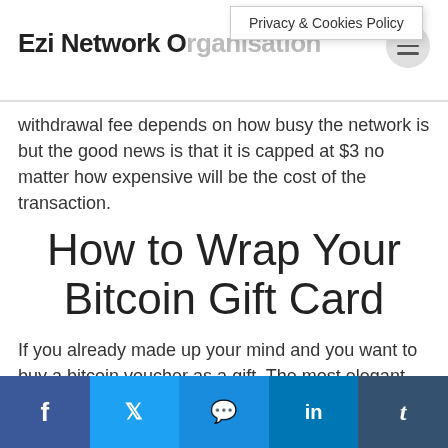Ezi Network Organisation
Privacy & Cookies Policy
withdrawal fee depends on how busy the network is but the good news is that it is capped at $3 no matter how expensive will be the cost of the transaction.
How to Wrap Your Bitcoin Gift Card
If you already made up your mind and you want to buy a bitcoin voucher as a gift. The most elegant and personalized way will be to put in a handwritten card with warm wishes and instructions on how to
f  Twitter  Messenger  in  t